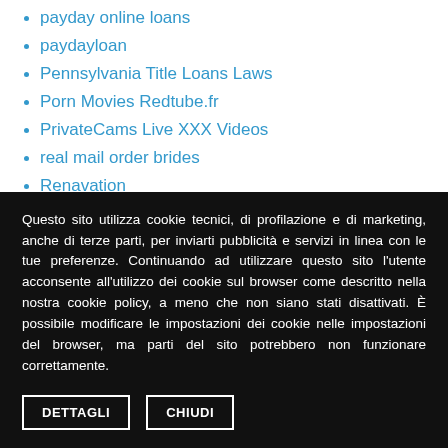payday online loans
paydayloan
Pennsylvania Title Loans Laws
Porn Movies Redtube.fr
PrivateCams Live XXX Videos
real mail order brides
Renavation
Runetki3 Live Web Cams
russian bride catalog
russian women mail order
Questo sito utilizza cookie tecnici, di profilazione e di marketing, anche di terze parti, per inviarti pubblicità e servizi in linea con le tue preferenze. Continuando ad utilizzare questo sito l'utente acconsente all'utilizzo dei cookie sul browser come descritto nella nostra cookie policy, a meno che non siano stati disattivati. È possibile modificare le impostazioni dei cookie nelle impostazioni del browser, ma parti del sito potrebbero non funzionare correttamente.
DETTAGLI  CHIUDI